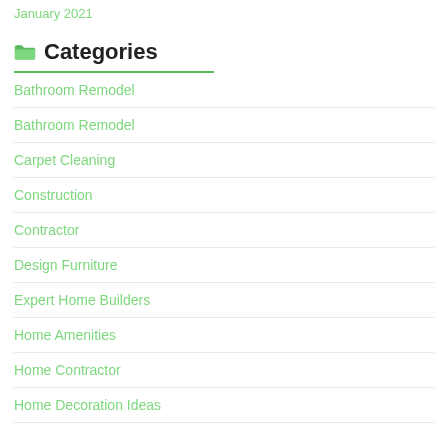January 2021
Categories
Bathroom Remodel
Bathroom Remodel
Carpet Cleaning
Construction
Contractor
Design Furniture
Expert Home Builders
Home Amenities
Home Contractor
Home Decoration Ideas